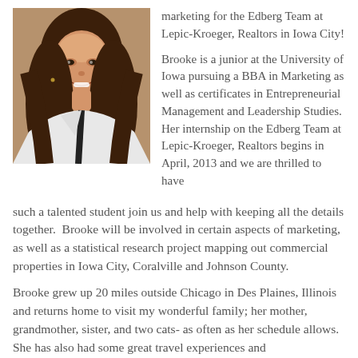[Figure (photo): Portrait photo of a young woman with long brown hair, smiling, wearing a white and black jacket, photographed indoors.]
marketing for the Edberg Team at Lepic-Kroeger, Realtors in Iowa City!
Brooke is a junior at the University of Iowa pursuing a BBA in Marketing as well as certificates in Entrepreneurial Management and Leadership Studies. Her internship on the Edberg Team at Lepic-Kroeger, Realtors begins in April, 2013 and we are thrilled to have such a talented student join us and help with keeping all the details together. Brooke will be involved in certain aspects of marketing, as well as a statistical research project mapping out commercial properties in Iowa City, Coralville and Johnson County.
Brooke grew up 20 miles outside Chicago in Des Plaines, Illinois and returns home to visit my wonderful family; her mother, grandmother, sister, and two cats- as often as her schedule allows. She has also had some great travel experiences and